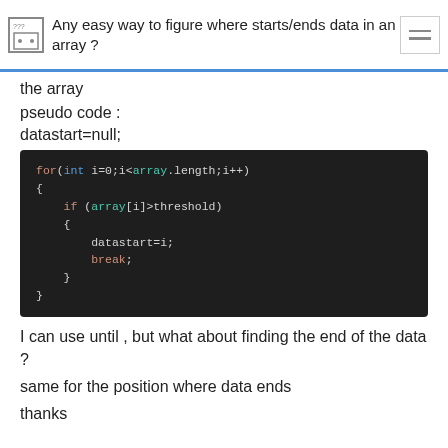Any easy way to figure where starts/ends data in an array ?
the array
pseudo code :
datastart=null;
[Figure (screenshot): Code block showing a for loop in dark theme: for(int i=0;i<array.length;i++) { if (array[i]>threshold) { datastart=i; break; } }]
I can use until , but what about finding the end of the data ?
same for the position where data ends
thanks